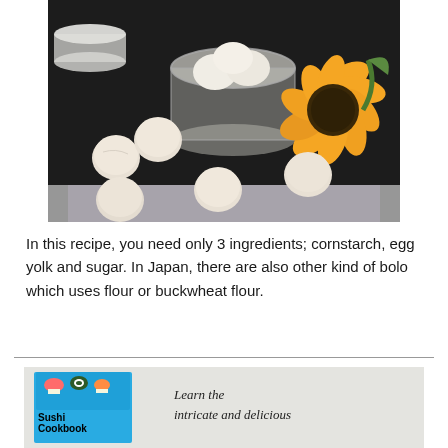[Figure (photo): Overhead photo on dark background showing a glass jar with cream/white balls, several round pale cookie-like biscuits (bolo) scattered on the surface, a yellow sunflower on the right, and a white lid on the upper left.]
In this recipe, you need only 3 ingredients; cornstarch, egg yolk and sugar. In Japan, there are also other kind of bolo which uses flour or buckwheat flour.
[Figure (photo): Bottom advertisement/book promotion showing a Sushi Cookbook cover with colorful sushi illustrations on a blue background, and text to the right reading 'Learn the intricate and delicious' on a light gray/white background.]